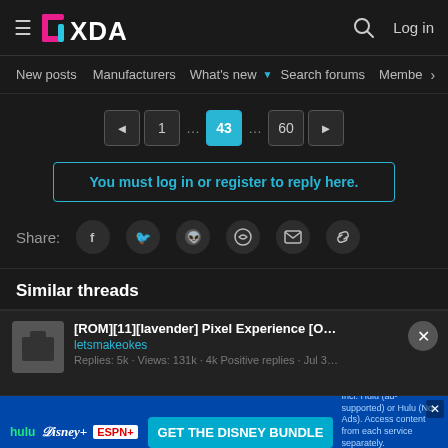XDA Developers - hamburger menu, logo, search, Log in
New posts | Manufacturers | What's new | Search forums | Membe >
Pagination: ◄ 1 … 43 … 60 ►
You must log in or register to reply here.
Share: Facebook Twitter Reddit WhatsApp Email Link
Similar threads
[ROM][11][lavender] Pixel Experience [OFFICIAL][AOSP]
letsmakeokes
Replies: 5k · Views: 131k · 4k Positive replies · Jul 30, 2021
[Figure (screenshot): Disney Bundle advertisement banner - Hulu, Disney+, ESPN+, GET THE DISNEY BUNDLE]
letsmakeokes